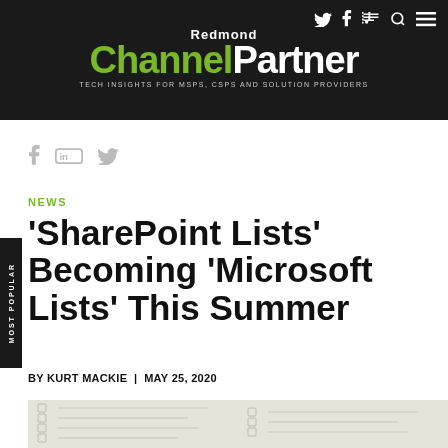Redmond Channel Partner — Tech Insights for MSPs, CSPs and Solution Providers
f in
NEWS
'SharePoint Lists' Becoming 'Microsoft Lists' This Summer
BY KURT MACKIE  |  MAY 25, 2020
[Figure (photo): Checklist paper document image at the bottom of the article]